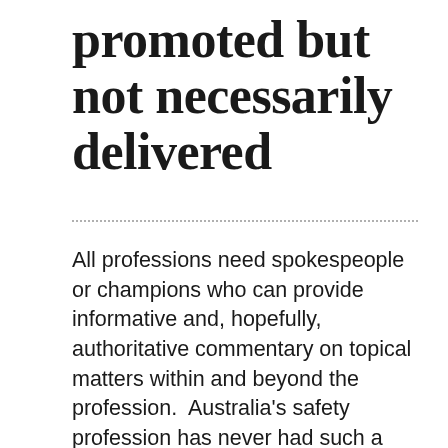promoted but not necessarily delivered
All professions need spokespeople or champions who can provide informative and, hopefully, authoritative commentary on topical matters within and beyond the profession.  Australia's safety profession has never had such a spokesperson but recently the speakers' bureau ICMI has packaged a selection of speakers who it thinks could be appropriate. The brief for Work Health Solutions focuses almost entirely on the issues of absenteeism, lost productivity, presenteeism and creating "a more enjoyable, friendly and less threatening environment" but will these speakers provide solutions to illnesses, injuries, amputations and diseases? Can these speakers provide the solutions